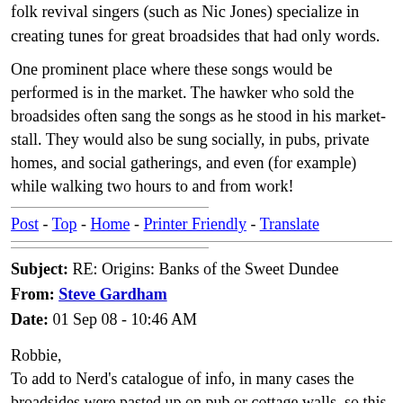folk revival singers (such as Nic Jones) specialize in creating tunes for great broadsides that had only words.
One prominent place where these songs would be performed is in the market. The hawker who sold the broadsides often sang the songs as he stood in his market-stall. They would also be sung socially, in pubs, private homes, and social gatherings, and even (for example) while walking two hours to and from work!
Post - Top - Home - Printer Friendly - Translate
Subject: RE: Origins: Banks of the Sweet Dundee
From: Steve Gardham
Date: 01 Sep 08 - 10:46 AM
Robbie,
To add to Nerd's catalogue of info, in many cases the broadsides were pasted up on pub or cottage walls, so this would reinforce their usage. Some of our more celebrated trad singers like Harry Cox learnt much of their repertoire from broadsides. Only a very few writers were allowed to have their names put on the broadsides in later years, George Brown, T Wise, John Morgan. During the 17thc this was a little more common with writers like Martin Parker, Richard Leveridge, Lawrence Price and Thomas Deloney. Sometimes while some of our more celebrated poets